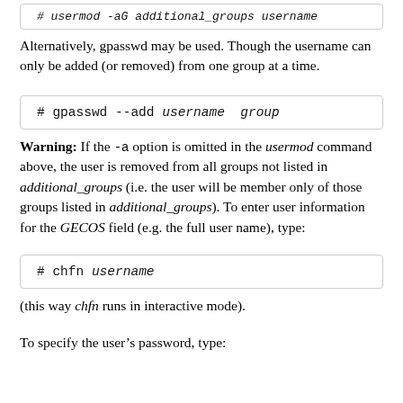[Figure (screenshot): Code box at top showing truncated command: # usermod -aG additional_groups username]
Alternatively, gpasswd may be used. Though the username can only be added (or removed) from one group at a time.
[Figure (screenshot): Code box showing: # gpasswd --add username group]
Warning: If the -a option is omitted in the usermod command above, the user is removed from all groups not listed in additional_groups (i.e. the user will be member only of those groups listed in additional_groups). To enter user information for the GECOS field (e.g. the full user name), type:
[Figure (screenshot): Code box showing: # chfn username]
(this way chfn runs in interactive mode).
To specify the user’s password, type: